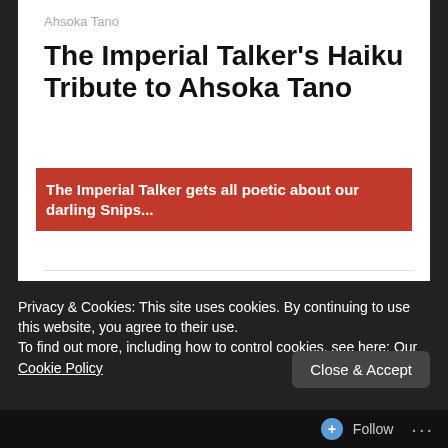Ahsoka Tano
The Imperial Talker's Haiku Tribute to Ahsoka Tano
The Imperial Talker gets all poetic about our darling Snips...
Posted on 15th March 2017 by Kelly M in Ahsoka Tano, Articles, Arts & Crafts, Fan Creations, Poetry, Star Wars Rebels, Star Wars: The Clone Wars // 2 Comments
Star Wars fans are always finding fun, creative new ways to pay homage to their favourite characters, whether
Privacy & Cookies: This site uses cookies. By continuing to use this website, you agree to their use.
To find out more, including how to control cookies, see here: Our Cookie Policy
Close & Accept